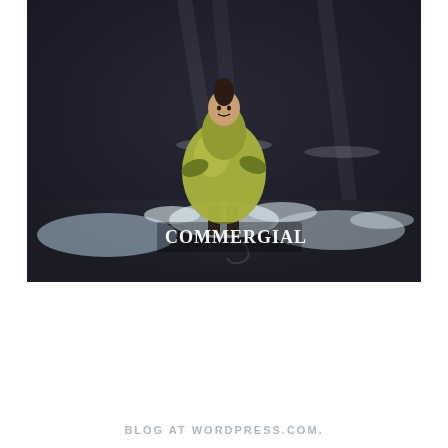[Figure (screenshot): A screenshot of a TV commercial showing a person in a large yellow/green pear-shaped costume standing on a dark stage with dramatic lighting and circular floor elements. White text in the lower-left corner reads 'COMMERGIAL'.]
BLOG AT WORDPRESS.COM.